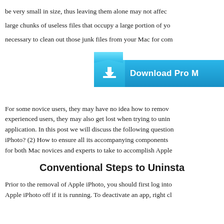be very small in size, thus leaving them alone may not affect… large chunks of useless files that occupy a large portion of yo… necessary to clean out those junk files from your Mac for con…
[Figure (other): A blue download button with an arrow-down icon and text 'Download Pro M...']
For some novice users, they may have no idea how to remov… experienced users, they may also get lost when trying to unin… application. In this post we will discuss the following question… iPhoto? (2) How to ensure all its accompanying components … for both Mac novices and experts to take to accomplish Apple…
Conventional Steps to Uninsta…
Prior to the removal of Apple iPhoto, you should first log into… Apple iPhoto off if it is running. To deactivate an app, right cl…